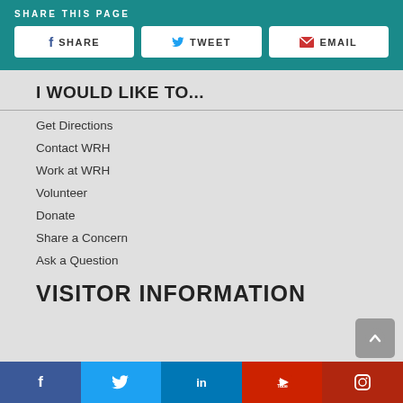SHARE THIS PAGE
SHARE | TWEET | EMAIL
I WOULD LIKE TO...
Get Directions
Contact WRH
Work at WRH
Volunteer
Donate
Share a Concern
Ask a Question
VISITOR INFORMATION
Facebook | Twitter | LinkedIn | YouTube | Instagram